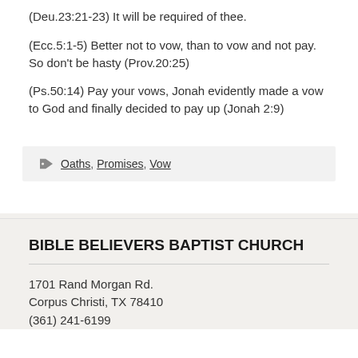(Deu.23:21-23) It will be required of thee.
(Ecc.5:1-5) Better not to vow, than to vow and not pay. So don't be hasty (Prov.20:25)
(Ps.50:14) Pay your vows, Jonah evidently made a vow to God and finally decided to pay up (Jonah 2:9)
Oaths, Promises, Vow
BIBLE BELIEVERS BAPTIST CHURCH
1701 Rand Morgan Rd.
Corpus Christi, TX 78410
(361) 241-6199